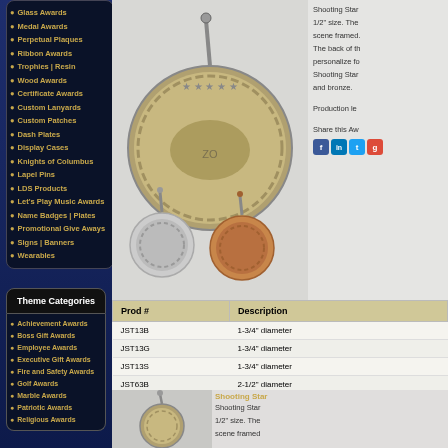Glass Awards
Medal Awards
Perpetual Plaques
Ribbon Awards
Trophies | Resin
Wood Awards
Certificate Awards
Custom Lanyards
Custom Patches
Dash Plates
Display Cases
Knights of Columbus
Lapel Pins
LDS Products
Let's Play Music Awards
Name Badges | Plates
Promotional Give Aways
Signs | Banners
Wearables
Theme Categories
Achievement Awards
Boss Gift Awards
Employee Awards
Executive Gift Awards
Fire and Safety Awards
Golf Awards
Marble Awards
Patriotic Awards
Religious Awards
[Figure (photo): Shooting Star medal in silver, with smaller silver and bronze versions below]
Shooting Star 1/2" size. The scene framed. The back of the personalize for Shooting Star and bronze.
Production le
Share this Aw
| Prod # | Description |
| --- | --- |
| JST13B | 1-3/4" diameter |
| JST13G | 1-3/4" diameter |
| JST13S | 1-3/4" diameter |
| JST63B | 2-1/2" diameter |
| JST63G | 2-1/2" diameter |
| JST63S | 2-1/2" diameter |
[Figure (photo): Shooting Star medal close-up at bottom of page]
Shooting Star 1/2" size. The scene framed